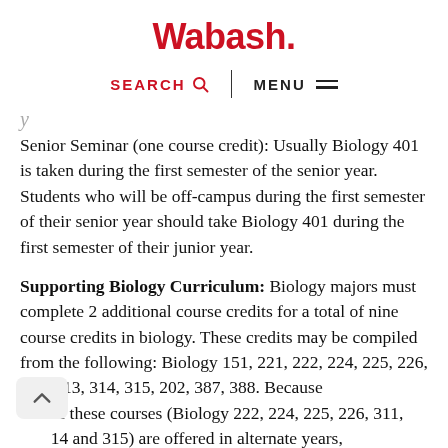Wabash.
SEARCH  MENU
Senior Seminar (one course credit): Usually Biology 401 is taken during the first semester of the senior year. Students who will be off-campus during the first semester of their senior year should take Biology 401 during the first semester of their junior year.
Supporting Biology Curriculum: Biology majors must complete 2 additional course credits for a total of nine course credits in biology. These credits may be compiled from the following: Biology 151, 221, 222, 224, 225, 226, 311, 313, 314, 315, 202, 387, 388. Because of these courses (Biology 222, 224, 225, 226, 311, 14 and 315) are offered in alternate years, students must carefully plan their curriculum (in